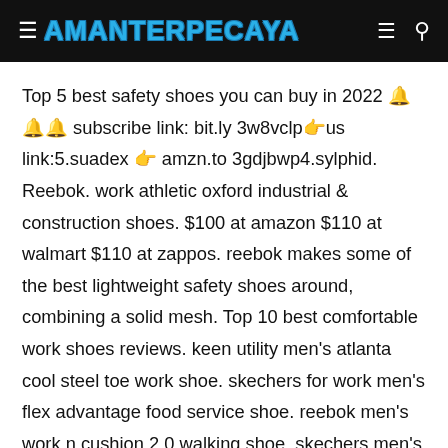AMANTERPECAYA
Top 5 best safety shoes you can buy in 2022 🔔🔔🔔 subscribe link: bit.ly 3w8vclp👉us link:5.suadex 👉 amzn.to 3gdjbwp4.sylphid. Reebok. work athletic oxford industrial & construction shoes. $100 at amazon $110 at walmart $110 at zappos. reebok makes some of the best lightweight safety shoes around, combining a solid mesh. Top 10 best comfortable work shoes reviews. keen utility men's atlanta cool steel toe work shoe. skechers for work men's flex advantage food service shoe. reebok men's work n cushion 2.0 walking shoe. skechers men's flex advantage sr – most comfortable work shoes for wide feet. Here's a guide to the most comfortable steel toe shoes that are worth every penny. table of contents [ hide] most comfortable steel